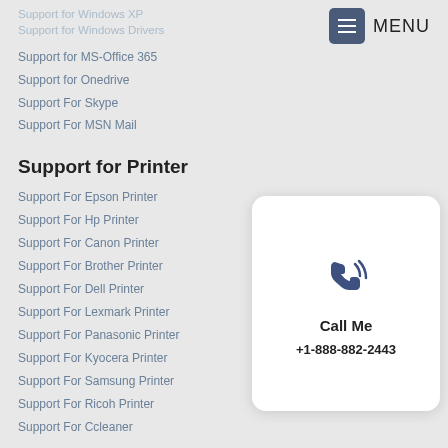MENU
Support for Windows XP
Support for Windows Drivers
Support for MS-Office 365
Support for Onedrive
Support For Skype
Support For MSN Mail
Support for Printer
Support For Epson Printer
Support For Hp Printer
Support For Canon Printer
Support For Brother Printer
Support For Dell Printer
Support For Lexmark Printer
Support For Panasonic Printer
Support For Kyocera Printer
Support For Samsung Printer
Support For Ricoh Printer
Support For Ccleaner
[Figure (infographic): Call Me card with phone icon and phone number +1-888-882-2443]